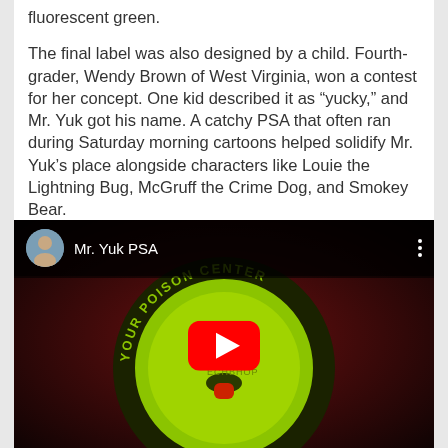fluorescent green.
The final label was also designed by a child. Fourth-grader, Wendy Brown of West Virginia, won a contest for her concept. One kid described it as “yucky,” and Mr. Yuk got his name. A catchy PSA that often ran during Saturday morning cartoons helped solidify Mr. Yuk’s place alongside characters like Louie the Lightning Bug, McGruff the Crime Dog, and Smokey Bear.
[Figure (screenshot): YouTube video thumbnail showing a Mr. Yuk sticker (green face on black background with YOUR POISON CENTER text) with video title 'Mr. Yuk PSA' and a red YouTube play button overlay.]